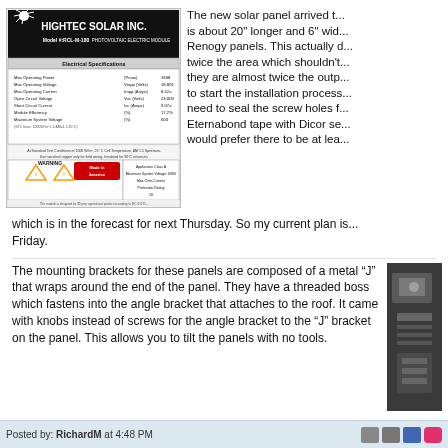[Figure (photo): Hightec Solar Inc. Model #:RCL-M-180 Photovoltaic Electric Module label showing electrical specifications, warning labels, and Made in America logo]
The new solar panel arrived t... is about 20" longer and 6" wid... Renogy panels. This actually d... twice the area which shouldn't... they are almost twice the outp... to start the installation process... need to seal the screw holes f... Eternabond tape with Dicor se... would prefer there to be at lea...
which is in the forecast for next Thursday. So my current plan is... Friday.
The mounting brackets for these panels are composed of a metal “J” that wraps around the end of the panel. They have a threaded boss which fastens into the angle bracket that attaches to the roof. It came with knobs instead of screws for the angle bracket to the “J” bracket on the panel. This allows you to tilt the panels with no tools.
[Figure (photo): Close-up photo of a solar panel mounting bracket on a roof surface]
Posted by: RichardM at 4:48 PM